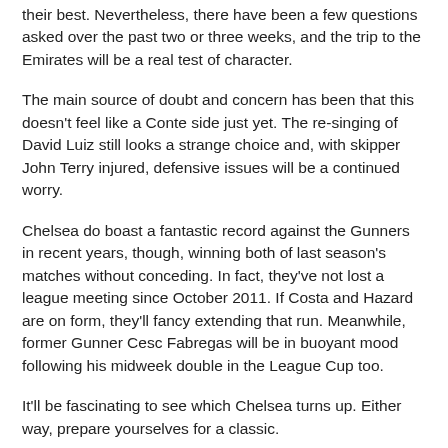their best. Nevertheless, there have been a few questions asked over the past two or three weeks, and the trip to the Emirates will be a real test of character.
The main source of doubt and concern has been that this doesn't feel like a Conte side just yet. The re-singing of David Luiz still looks a strange choice and, with skipper John Terry injured, defensive issues will be a continued worry.
Chelsea do boast a fantastic record against the Gunners in recent years, though, winning both of last season's matches without conceding. In fact, they've not lost a league meeting since October 2011. If Costa and Hazard are on form, they'll fancy extending that run. Meanwhile, former Gunner Cesc Fabregas will be in buoyant mood following his midweek double in the League Cup too.
It'll be fascinating to see which Chelsea turns up. Either way, prepare yourselves for a classic.